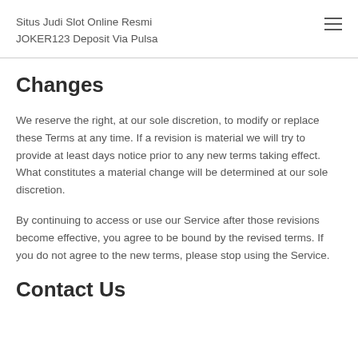Situs Judi Slot Online Resmi JOKER123 Deposit Via Pulsa
Changes
We reserve the right, at our sole discretion, to modify or replace these Terms at any time. If a revision is material we will try to provide at least days notice prior to any new terms taking effect. What constitutes a material change will be determined at our sole discretion.
By continuing to access or use our Service after those revisions become effective, you agree to be bound by the revised terms. If you do not agree to the new terms, please stop using the Service.
Contact Us